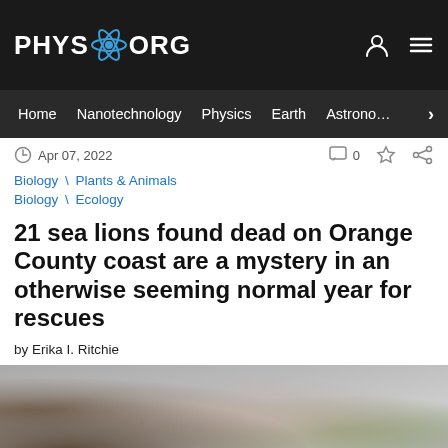PHYS.ORG
Home | Nanotechnology | Physics | Earth | Astronomy >
Apr 07, 2022   0
Biology \ Plants & Animals
Biology \ Ecology
21 sea lions found dead on Orange County coast are a mystery in an otherwise seeming normal year for rescues
by Erika I. Ritchie
[Figure (photo): Blurred photo background showing what appears to be a sea lion or coastal rocks, blurred close-up shot]